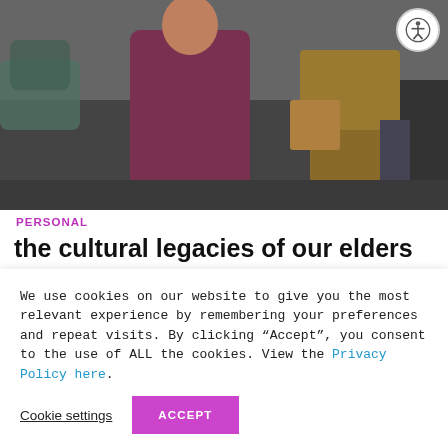[Figure (photo): Photograph of a person in a dark pink/maroon jacket standing in what appears to be a warehouse or storage area with cardboard boxes in the background]
PERSONAL
the cultural legacies of our elders
by josh  April 24, 2020
My achchi passed away last weekend at 87 years old.
We use cookies on our website to give you the most relevant experience by remembering your preferences and repeat visits. By clicking "Accept", you consent to the use of ALL the cookies. View the Privacy Policy here.
Cookie settings  ACCEPT